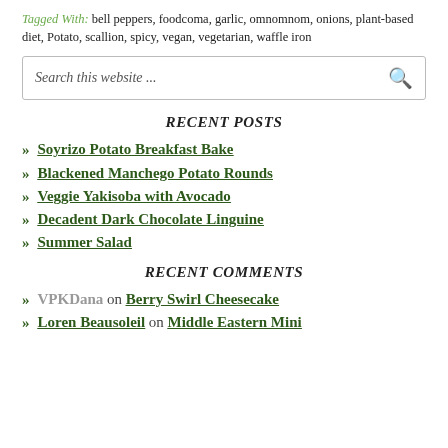Tagged With: bell peppers, foodcoma, garlic, omnomnom, onions, plant-based diet, Potato, scallion, spicy, vegan, vegetarian, waffle iron
[Figure (screenshot): Search box with placeholder text 'Search this website ...' and a search icon]
RECENT POSTS
» Soyrizo Potato Breakfast Bake
» Blackened Manchego Potato Rounds
» Veggie Yakisoba with Avocado
» Decadent Dark Chocolate Linguine
» Summer Salad
RECENT COMMENTS
» VPKDana on Berry Swirl Cheesecake
» Loren Beausoleil on Middle Eastern Mini